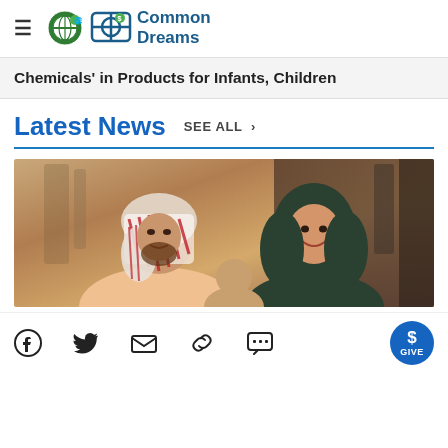Common Dreams
Chemicals' in Products for Infants, Children
Latest News
SEE ALL >
[Figure (photo): Photo of a man in traditional Arabic keffiyeh/ghutrah and a woman wearing a dark green hijab, both smiling, with a child partially visible in front]